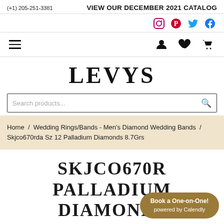(+1) 205-251-3381  VIEW OUR DECEMBER 2021 CATALOG
[Figure (illustration): Social media icons: Instagram, Pinterest, Twitter, Facebook]
[Figure (illustration): Navigation bar with hamburger menu, user icon, heart/wishlist icon, cart icon]
LEVYS
Search products...
Home / Wedding Rings/Bands - Men's Diamond Wedding Bands / Skjco670rda Sz 12 Palladium Diamonds 8.7Grs
SKJCO670R PALLADIUM DIAMONDS
Book a One-on-One! powered by Calendly